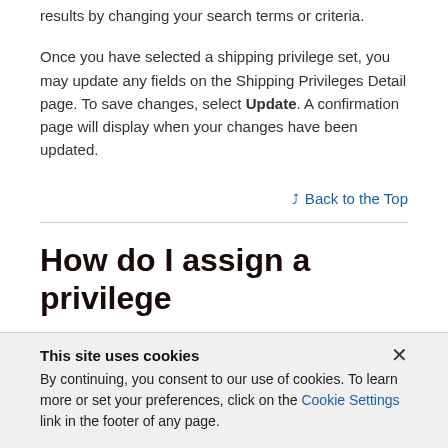results by changing your search terms or criteria.
Once you have selected a shipping privilege set, you may update any fields on the Shipping Privileges Detail page. To save changes, select Update. A confirmation page will display when your changes have been updated.
Back to the Top
How do I assign a privilege
This site uses cookies
By continuing, you consent to our use of cookies. To learn more or set your preferences, click on the Cookie Settings link in the footer of any page.